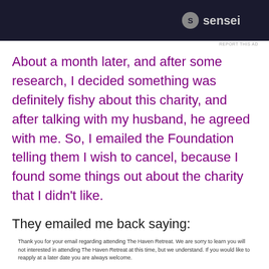[Figure (screenshot): Dark advertisement banner with 'sensei' logo and circular icon on right side]
REPORT THIS AD
About a month later, and after some research, I decided something was definitely fishy about this charity, and after talking with my husband, he agreed with me. So, I emailed the Foundation telling them I wish to cancel, because I found some things out about the charity that I didn't like.
They emailed me back saying:
Thank you for your email regarding attending The Haven Retreat. We are sorry to learn you will not interested in attending The Haven Retreat at this time, but we understand. If you would like to reapply at a later date you are always welcome.